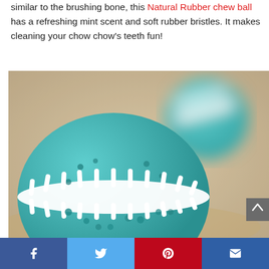similar to the brushing bone, this Natural Rubber chew ball has a refreshing mint scent and soft rubber bristles. It makes cleaning your chow chow's teeth fun!
[Figure (photo): Close-up photo of a teal and white rubber dog chew ball with bristles/spikes, designed for dental cleaning, on a blurred background]
Social sharing bar with Facebook, Twitter, Pinterest, and Email buttons